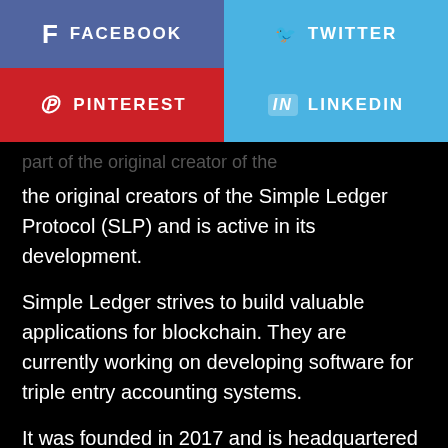[Figure (infographic): Social media share buttons: Facebook (blue-purple), Twitter (light blue), Pinterest (red), LinkedIn (light blue)]
the original creators of the Simple Ledger Protocol (SLP) and is active in its development.
Simple Ledger strives to build valuable applications for blockchain. They are currently working on developing software for triple entry accounting systems.
It was founded in 2017 and is headquartered in Independence, Ohio.. .